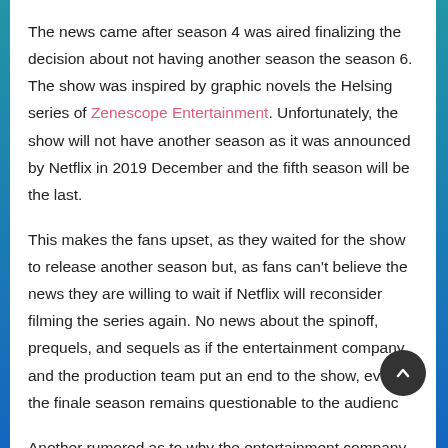The news came after season 4 was aired finalizing the decision about not having another season the season 6. The show was inspired by graphic novels the Helsing series of Zenescope Entertainment. Unfortunately, the show will not have another season as it was announced by Netflix in 2019 December and the fifth season will be the last.
This makes the fans upset, as they waited for the show to release another season but, as fans can't believe the news they are willing to wait if Netflix will reconsider filming the series again. No news about the spinoff, prequels, and sequels as if the entertainment company and the production team put an end to the show, even if the finale season remains questionable to the audience
Another rumored as to why the entertainment company